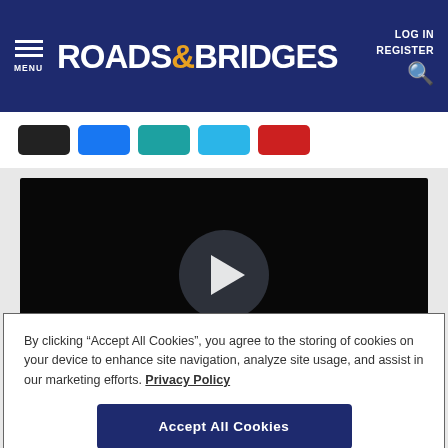ROADS & BRIDGES — LOG IN / REGISTER
[Figure (screenshot): Social share buttons strip: black, blue (Facebook), teal, light blue, red buttons]
[Figure (screenshot): Video player with black background and centered play button circle]
By clicking “Accept All Cookies”, you agree to the storing of cookies on your device to enhance site navigation, analyze site usage, and assist in our marketing efforts. Privacy Policy
Accept All Cookies